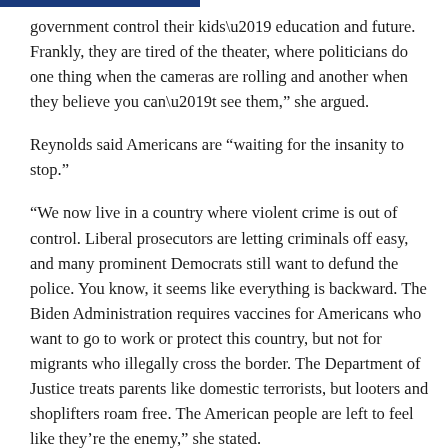government control their kids’ education and future. Frankly, they are tired of the theater, where politicians do one thing when the cameras are rolling and another when they believe you can’t see them,” she argued.
Reynolds said Americans are “waiting for the insanity to stop.”
“We now live in a country where violent crime is out of control. Liberal prosecutors are letting criminals off easy, and many prominent Democrats still want to defund the police. You know, it seems like everything is backward. The Biden Administration requires vaccines for Americans who want to go to work or protect this country, but not for migrants who illegally cross the border. The Department of Justice treats parents like domestic terrorists, but looters and shoplifters roam free. The American people are left to feel like they’re the enemy,” she stated.
Reynolds said the United States is not the same country as just